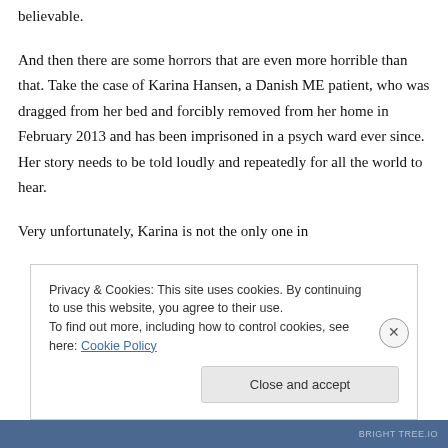believable.
And then there are some horrors that are even more horrible than that. Take the case of Karina Hansen, a Danish ME patient, who was dragged from her bed and forcibly removed from her home in February 2013 and has been imprisoned in a psych ward ever since. Her story needs to be told loudly and repeatedly for all the world to hear.
Very unfortunately, Karina is not the only one in
Privacy & Cookies: This site uses cookies. By continuing to use this website, you agree to their use.
To find out more, including how to control cookies, see here: Cookie Policy
Close and accept